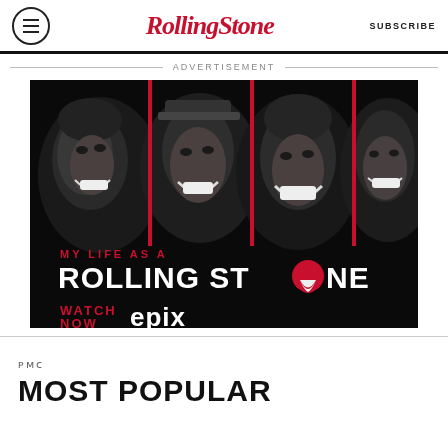Rolling Stone | SUBSCRIBE
ADVERTISEMENT
[Figure (photo): Advertisement for 'My Life as a Rolling Stone' on EPIX channel, showing black and white photos of four Rolling Stones band members with red vertical dividers, with text 'MY LIFE AS A ROLLING STONE WATCH NOW EPIX']
PMC
MOST POPULAR